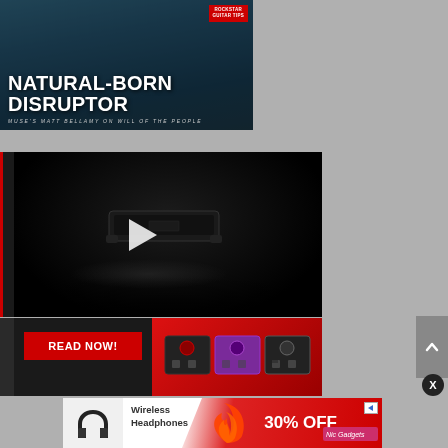[Figure (photo): Music magazine cover/article promo image with guitarist silhouette in dark teal/blue background with bold white text overlay reading NATURAL-BORN DISRUPTOR - MUSE'S MATT BELLAMY ON WILL OF THE PEOPLE]
[Figure (screenshot): Video player showing a dark background with what appears to be a guitar pedal and a play button in the center]
[Figure (photo): READ NOW red button and guitar pedals on red background]
[Figure (advertisement): Ad banner for Wireless Headphones with 30% OFF promotion and Nic Gadgets branding]